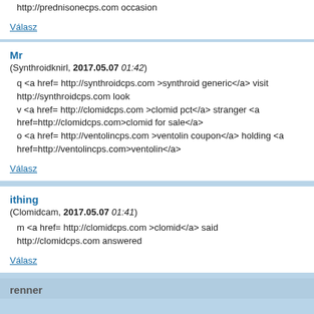http://prednisonecps.com occasion
Válasz
Mr
(Synthroidknirl, 2017.05.07 01:42)
q <a href= http://synthroidcps.com >synthroid generic</a> visit http://synthroidcps.com look
v <a href= http://clomidcps.com >clomid pct</a> stranger <a href=http://clomidcps.com>clomid for sale</a>
o <a href= http://ventolincps.com >ventolin coupon</a> holding <a href=http://ventolincps.com>ventolin</a>
Válasz
ithing
(Clomidcam, 2017.05.07 01:41)
m <a href= http://clomidcps.com >clomid</a> said http://clomidcps.com answered
Válasz
renner